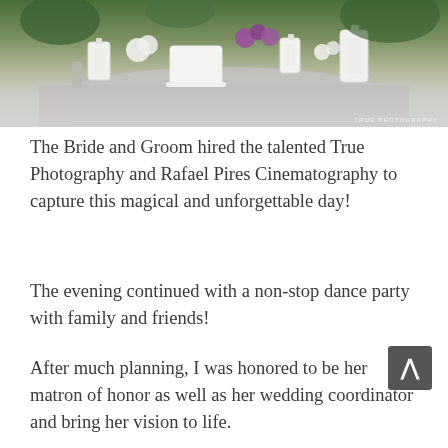[Figure (photo): Wedding table setup with white lanterns, white flowers, purple flowers, white cake stand, and a sparkly silver tablecloth. Green foliage in background. Watermark reads 'TRUE PHOTOGRAPHY' in bottom right.]
The Bride and Groom hired the talented True Photography and Rafael Pires Cinematography to capture this magical and unforgettable day!
The evening continued with a non-stop dance party with family and friends!
After much planning, I was honored to be her matron of honor as well as her wedding coordinator and bring her vision to life.